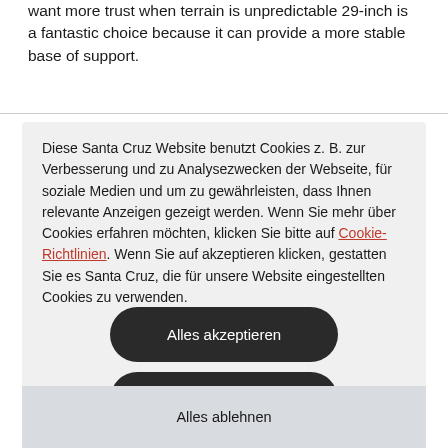want more trust when terrain is unpredictable 29-inch is a fantastic choice because it can provide a more stable base of support.
Diese Santa Cruz Website benutzt Cookies z. B. zur Verbesserung und zu Analysezwecken der Webseite, für soziale Medien und um zu gewährleisten, dass Ihnen relevante Anzeigen gezeigt werden. Wenn Sie mehr über Cookies erfahren möchten, klicken Sie bitte auf Cookie-Richtlinien. Wenn Sie auf akzeptieren klicken, gestatten Sie es Santa Cruz, die für unsere Website eingestellten Cookies zu verwenden.
Alles akzeptieren
Anpassen
Alles ablehnen